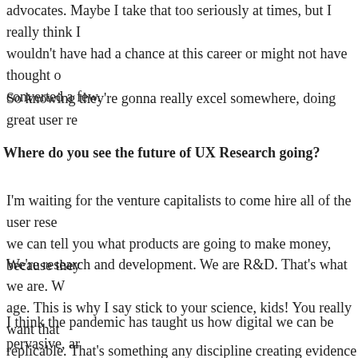advocates. Maybe I take that too seriously at times, but I really think I wouldn't have had a chance at this career or might not have thought of it, converted a few.
So knowing they're gonna really excel somewhere, doing great user re
Where do you see the future of UX Research going?
I'm waiting for the venture capitalists to come hire all of the user resea we can tell you what products are going to make money, because they
We're research and development. We are R&D. That's what we are. W age. This is why I say stick to your science, kids! You really want that replicable. That's something any discipline creating evidence should b
I think the pandemic has taught us how digital we can be pervasive, ar serious lessons learned from the power of these tools during the pande growing.